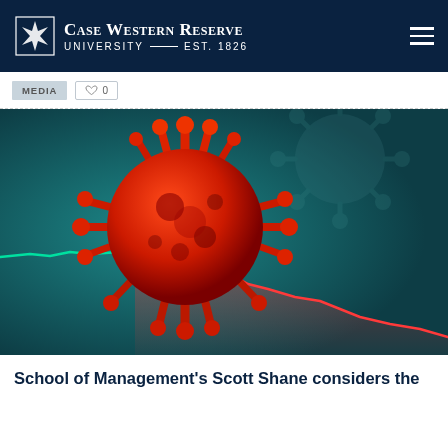Case Western Reserve University EST. 1826
MEDIA  ♡ 0
[Figure (illustration): 3D illustration of a red coronavirus particle with spikes on a teal background, overlaid with a declining red stock market line chart, suggesting economic impact of COVID-19]
School of Management's Scott Shane considers the